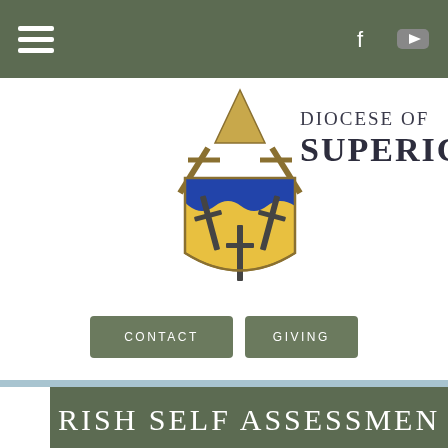Navigation bar with hamburger menu, Facebook and YouTube icons
[Figure (logo): Diocese of Superior coat of arms shield logo: yellow/gold shield with blue wavy top and three sword crosses, with bishop's mitre and crossed staffs above]
DIOCESE OF SUPERIOR
CONTACT   GIVING
RISH SELF ASSESSMEN